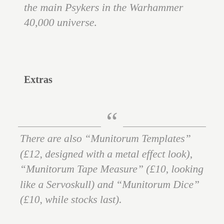the main Psykers in the Warhammer 40,000 universe.
Extras
There are also “Munitorum Templates” (£12, designed with a metal effect look), “Munitorum Tape Measure” (£10, looking like a Servoskull) and “Munitorum Dice” (£10, while stocks last).